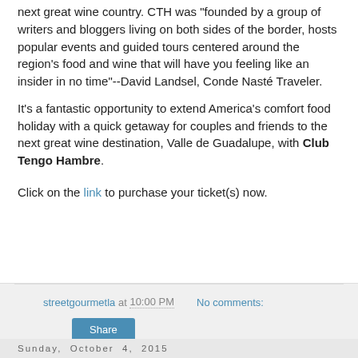next great wine country. CTH was "founded by a group of writers and bloggers living on both sides of the border, hosts popular events and guided tours centered around the region's food and wine that will have you feeling like an insider in no time"--David Landsel, Conde Nasté Traveler.
It's a fantastic opportunity to extend America's comfort food holiday with a quick getaway for couples and friends to the next great wine destination, Valle de Guadalupe, with Club Tengo Hambre.
Click on the link to purchase your ticket(s) now.
streetgourmetla at 10:00 PM   No comments:   Share
Sunday, October 4, 2015